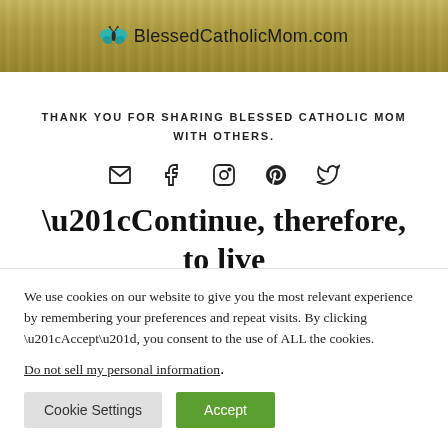[Figure (screenshot): Website header banner with wheat/grain field background and BlessedCatholicMom.com logo with teal butterfly icon]
THANK YOU FOR SHARING BLESSED CATHOLIC MOM WITH OTHERS.
[Figure (infographic): Social sharing icons: email, Facebook, Instagram, Pinterest, Twitter]
“Continue, therefore, to live in Christ Jesus the Lord, in
We use cookies on our website to give you the most relevant experience by remembering your preferences and repeat visits. By clicking “Accept”, you consent to the use of ALL the cookies.
Do not sell my personal information.